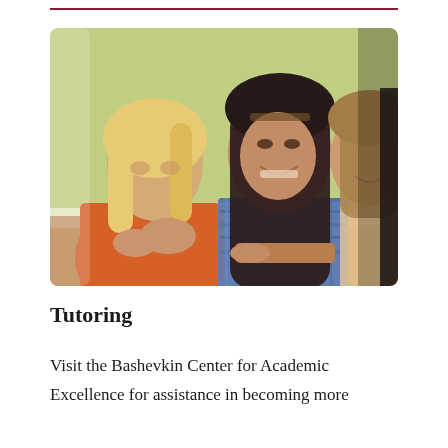[Figure (photo): Three young women students sitting at a table, smiling and engaged. The woman on the left wears a red/orange top, the woman in the center wears a blue plaid shirt and has long dark hair, and a third woman is partially visible on the right. Background is blurred green/yellow.]
Tutoring
Visit the Bashevkin Center for Academic Excellence for assistance in becoming more